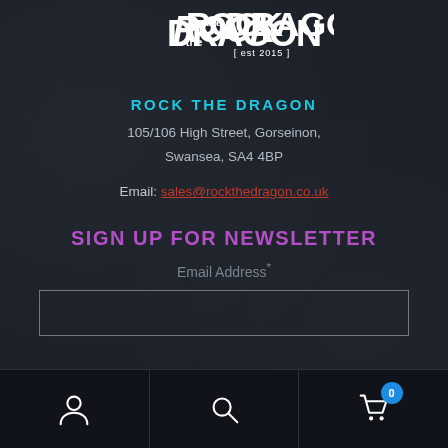[Figure (logo): Rock the Dragon logo in white hand-lettered style with 'est 2015' subtitle]
ROCK THE DRAGON
105/106 High Street, Gorseinon,
Swansea, SA4 4BP
Email: sales@rockthedragon.co.uk
SIGN UP FOR NEWSLETTER
Email Address*
[Figure (screenshot): Email input field (empty text box with border)]
Navigation bar with account icon, search icon, and cart icon with badge showing 0